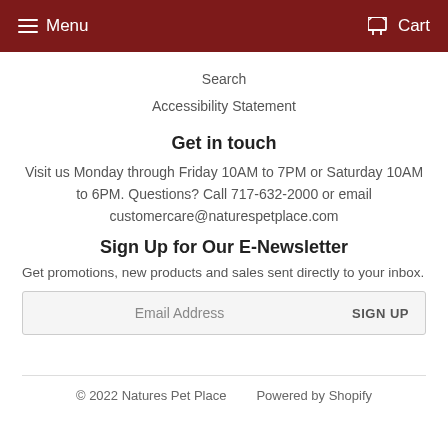Menu   Cart
Search
Accessibility Statement
Get in touch
Visit us Monday through Friday 10AM to 7PM or Saturday 10AM to 6PM. Questions? Call 717-632-2000 or email customercare@naturespetplace.com
Sign Up for Our E-Newsletter
Get promotions, new products and sales sent directly to your inbox.
Email Address   SIGN UP
© 2022 Natures Pet Place   Powered by Shopify